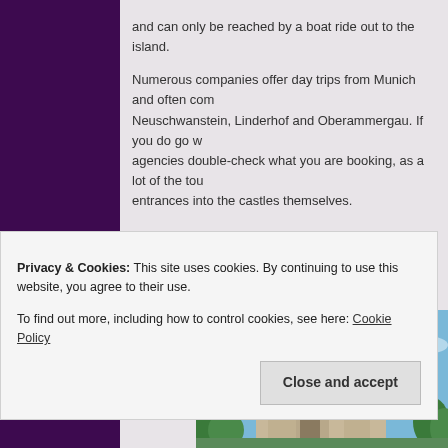and can only be reached by a boat ride out to the island.
Numerous companies offer day trips from Munich and often combine Neuschwanstein, Linderhof and Oberammergau. If you do go with agencies double-check what you are booking, as a lot of the tours don't include entrances into the castles themselves.
[Figure (photo): Photo of Neuschwanstein Castle towers against a blue sky with some trees visible at the bottom.]
Privacy & Cookies: This site uses cookies. By continuing to use this website, you agree to their use.
To find out more, including how to control cookies, see here: Cookie Policy